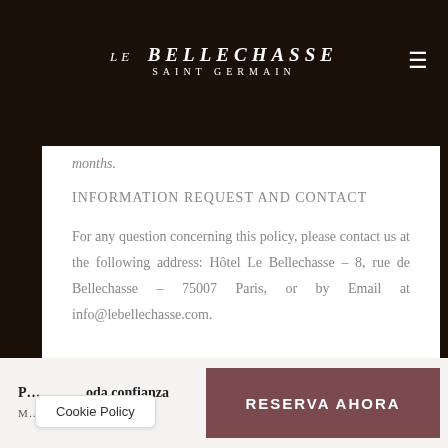LE BELLECHASSE SAINT GERMAIN
months.
INFORMATION REQUEST AND CONTACT
For any question concerning this policy, please contact us at the following address: Hôtel Le Bellechasse – 8, rue de Bellechasse – 75007 Paris, or by Email at info@lebellechasse.com.
Cookie Policy | P... oda confianza M... ANTIZADA | RESERVA AHORA